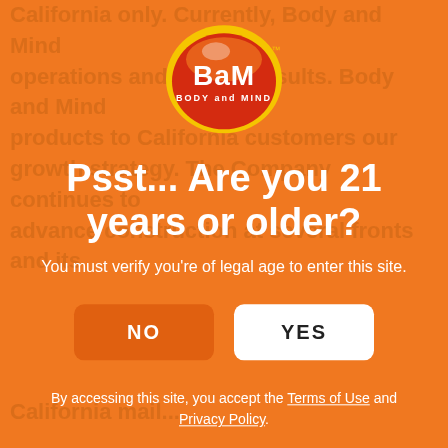[Figure (logo): BaM Body and Mind circular logo with red/orange/yellow background and white text]
Psst... Are you 21 years or older?
You must verify you're of legal age to enter this site.
NO  YES
By accessing this site, you accept the Terms of Use and Privacy Policy.